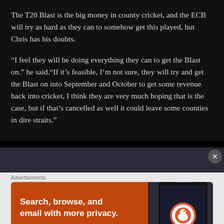The T20 Blast is the big money in county cricket, and the ECB will try as hard as they can to somehow get this played, but Chris has his doubts.
“I feel they will be doing everything they can to get the Blast on.” he said.“If it’s feasible, I’m not sure, they will try and get the Blast on into September and October to get some revenue back into cricket, I think they are very much hoping that is the case, but if that’s cancelled as well it could leave some counties in dire straits.”
[Figure (photo): Partial image visible at the bottom of the dark article section, appears to be a person or sports-related photo.]
Advertisements
[Figure (other): DuckDuckGo advertisement banner with orange background. Text reads: Search, browse, and email with more privacy. All in One Free App. Shows a smartphone with the DuckDuckGo app and logo.]